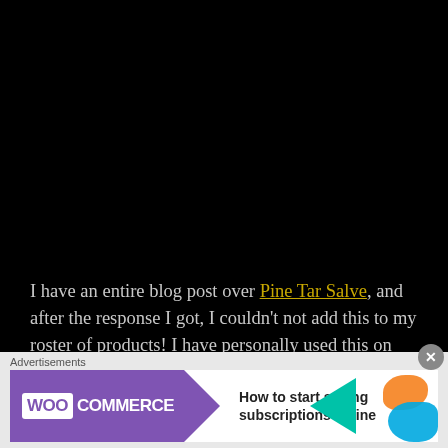[Figure (photo): Large black area taking up the top portion of the page — appears to be a dark/black image or video frame]
I have an entire blog post over Pine Tar Salve, and after the response I got, I couldn't not add this to my roster of products! I have personally used this on minor wounds, itchy skin, and even used it on my husband when he sliced his finger while
[Figure (screenshot): WooCommerce advertisement banner. Shows WooCommerce logo with purple background and green arrow, with text 'How to start selling subscriptions online'. Has orange and blue decorative shapes on the right.]